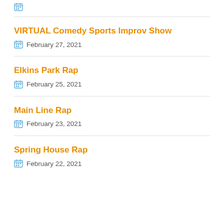VIRTUAL Comedy Sports Improv Show
February 27, 2021
Elkins Park Rap
February 25, 2021
Main Line Rap
February 23, 2021
Spring House Rap
February 22, 2021